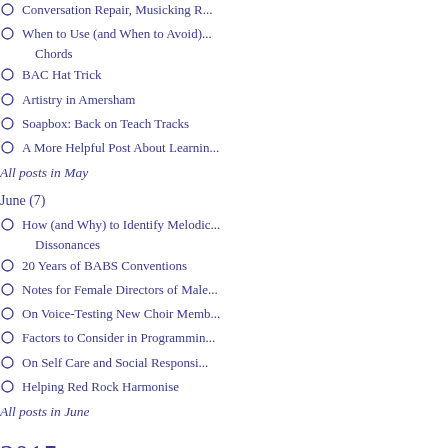Conversation Repair, Musicking R...
When to Use (and When to Avoid)... Chords
BAC Hat Trick
Artistry in Amersham
Soapbox: Back on Teach Tracks
A More Helpful Post About Learnin...
All posts in May
June (7)
How (and Why) to Identify Melodic... Dissonances
20 Years of BABS Conventions
Notes for Female Directors of Male...
On Voice-Testing New Choir Memb...
Factors to Consider in Programmin...
On Self Care and Social Responsi...
Helping Red Rock Harmonise
All posts in June
2015 (88 posts)
January (7)
Magenta Rehearsal Protocols
Soapbox: How Can You Tell a Goo...
On the Riviera...
Tackling the Too-Hard Tray
The Red Queen Effect, and its Em... Impact
Amersham A Cappella and Expre...